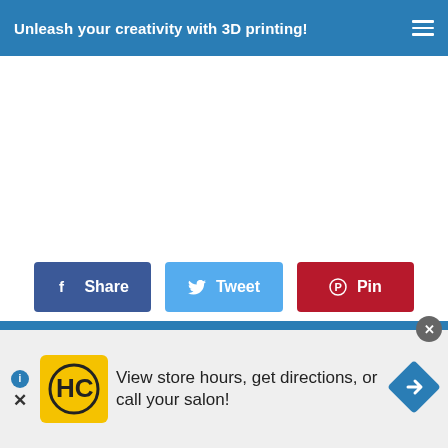Unleash your creativity with 3D printing!
[Figure (screenshot): Empty white content area below navigation bar]
Share
Tweet
Pin
View store hours, get directions, or call your salon!